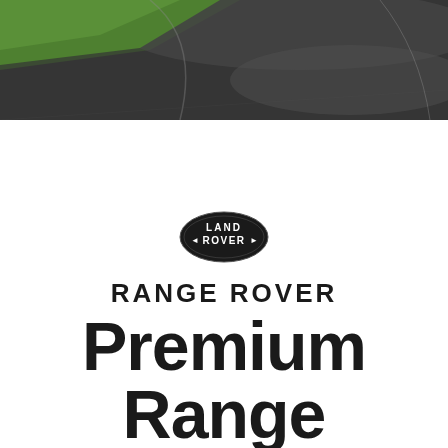[Figure (photo): Aerial or angled view of a road/racetrack with green grass on the left and dark asphalt surface, shot from above showing road curves]
[Figure (logo): Land Rover oval badge logo in black with white text reading LAND ROVER with decorative arrows]
RANGE ROVER
Premium Range